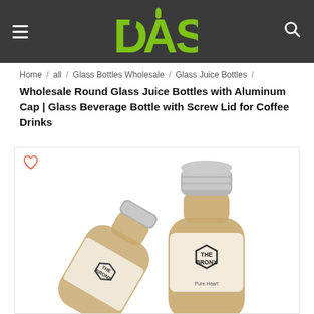DAS
Home / all / Glass Bottles Wholesale / Glass Juice Bottles /
Wholesale Round Glass Juice Bottles with Aluminum Cap | Glass Beverage Bottle with Screw Lid for Coffee Drinks
[Figure (photo): Two round glass juice bottles with aluminum screw caps and 'The Bronx' label filled with a brownish coffee drink, displayed on white background]